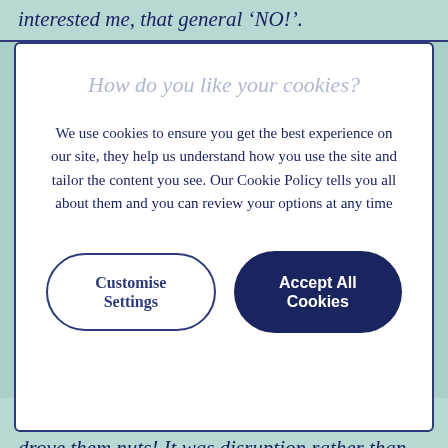interested me, that general 'NO!'.
How do you like your cookies?
We use cookies to ensure you get the best experience on our site, they help us understand how you use the site and tailor the content you see. Our Cookie Policy tells you all about them and you can review your options at any time
Customise Settings
Accept All Cookies
wearing it would be cool but I wore it and it drove them nuts! It was disruption rather than controversy that interested me – throw a grenade in the room, retire and see what happens.'